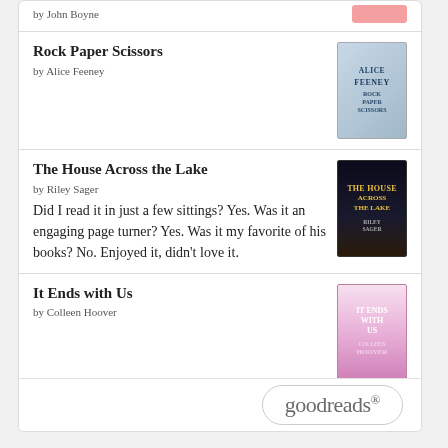by John Boyne
Rock Paper Scissors
by Alice Feeney
[Figure (illustration): Book cover for Rock Paper Scissors by Alice Feeney]
The House Across the Lake
by Riley Sager
[Figure (illustration): Book cover for The House Across the Lake by Riley Sager]
Did I read it in just a few sittings? Yes. Was it an engaging page turner? Yes. Was it my favorite of his books? No. Enjoyed it, didn't love it.
It Ends with Us
by Colleen Hoover
[Figure (illustration): Book cover for It Ends with Us by Colleen Hoover]
goodreads